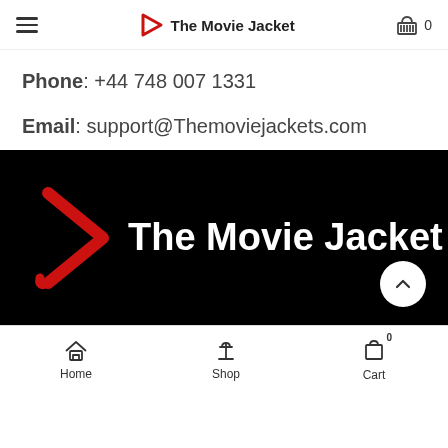The Movie Jacket — navigation header with hamburger menu and cart
Phone: +44 748 007 1331
Email: support@Themoviejackets.com
[Figure (logo): The Movie Jacket logo on dark/black background with red play-button chevron icon and white bold text reading 'The Movie Jacket']
Home | Shop | Cart (0)